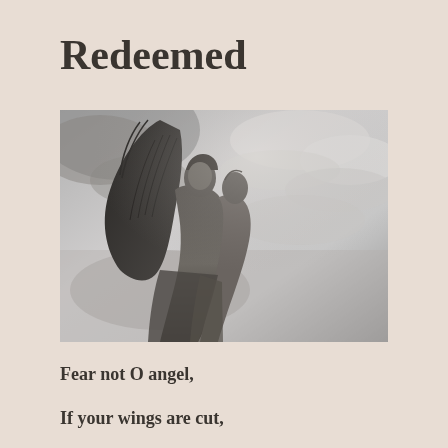Redeemed
[Figure (photo): Black and white photograph of two angel statues against a dramatic cloudy sky. One angel with large wings appears to be embracing or lifting a second figure, both looking upward.]
Fear not O angel,
If your wings are cut,